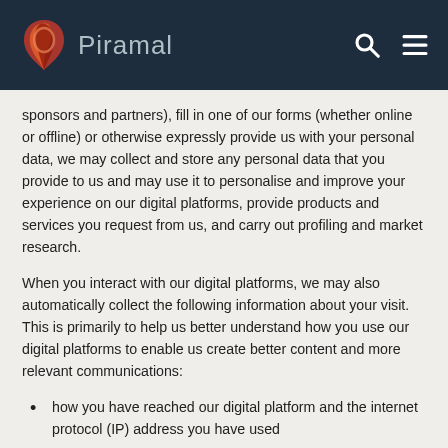Piramal
sponsors and partners), fill in one of our forms (whether online or offline) or otherwise expressly provide us with your personal data, we may collect and store any personal data that you provide to us and may use it to personalise and improve your experience on our digital platforms, provide products and services you request from us, and carry out profiling and market research.
When you interact with our digital platforms, we may also automatically collect the following information about your visit. This is primarily to help us better understand how you use our digital platforms to enable us create better content and more relevant communications:
how you have reached our digital platform and the internet protocol (IP) address you have used
your browser type, versions and plug-ins, and your operating system
your journey through our digital platform, including which